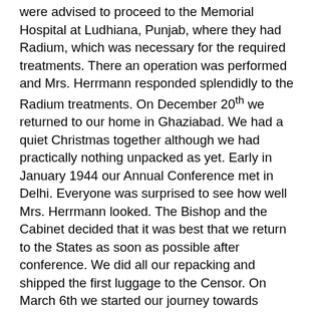were advised to proceed to the Memorial Hospital at Ludhiana, Punjab, where they had Radium, which was necessary for the required treatments. There an operation was performed and Mrs. Herrmann responded splendidly to the Radium treatments. On December 20th we returned to our home in Ghaziabad. We had a quiet Christmas together although we had practically nothing unpacked as yet. Early in January 1944 our Annual Conference met in Delhi. Everyone was surprised to see how well Mrs. Herrmann looked. The Bishop and the Cabinet decided that it was best that we return to the States as soon as possible after conference. We did all our repacking and shipped the first luggage to the Censor. On March 6th we started our journey towards Bombay. We stopped off at Muttra, where we had been in High School work for nearly two years and then at Brindaban, where our son Gordon may be stationed as doctor, when he is released from the Army in which he is serving in the Medical Corps. While here, Mrs. Herrmann had a very serious setback and it was decided that it would be best to return to the Memorial Hospital, Ludhiana, for observation and consultation, for it was here she had had the Radium treatments. Thus, we canceled our journey to Bombay and returned to the Memorial Hospital. On March 19th another emergency